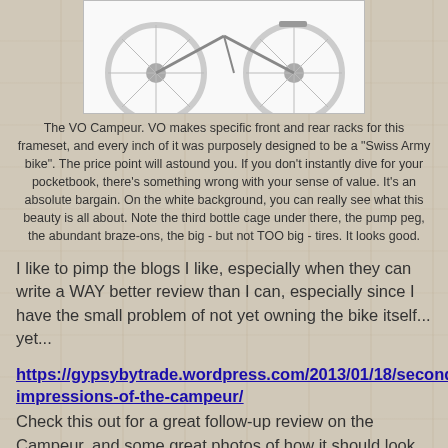[Figure (photo): Bicycle (VO Campeur) on white background, top portion visible showing rear wheel and frame]
The VO Campeur.  VO makes specific front and rear racks for this frameset, and every inch of it was purposely designed to be a "Swiss Army bike".  The price point will astound you.  If you don't instantly dive for your pocketbook, there's something wrong with your sense of value.  It's an absolute bargain.  On the white background, you can really see what this beauty is all about.  Note the third bottle cage under there, the pump peg, the abundant braze-ons, the big - but not TOO big - tires.  It looks good.
I like to pimp the blogs I like, especially when they can write a WAY better review than I can, especially since I have the small problem of not yet owning the bike itself... yet...
https://gypsybytrade.wordpress.com/2013/01/18/second-impressions-of-the-campeur/
Check this out for a great follow-up review on the Campeur, and some great photos of how it should look in the wild.
[Figure (illustration): Small icon image placeholder]